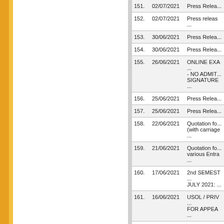| # | Date | Title |
| --- | --- | --- |
| 151. | 02/07/2021 | Press Relea... |
| 152. | 02/07/2021 | Press releas... |
| 153. | 30/06/2021 | Press Relea... |
| 154. | 30/06/2021 | Press Relea... |
| 155. | 26/06/2021 | ONLINE EXA... - NO ADMIT... SIGNATURE... |
| 156. | 25/06/2021 | Press Relea... |
| 157. | 25/06/2021 | Press Relea... |
| 158. | 22/06/2021 | Quotation fo... (with carriage... |
| 159. | 21/06/2021 | Quotation fo... various Entra... |
| 160. | 17/06/2021 | 2nd SEMEST... JULY 2021: ... |
| 161. | 16/06/2021 | USOL / PRIV... FOR APPEA... |
| 162. | 16/06/2021 | REGULAR S... DEPARTME... FOR APPEA... |